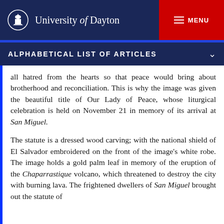University of Dayton
ALPHABETICAL LIST OF ARTICLES
all hatred from the hearts so that peace would bring about brotherhood and reconciliation. This is why the image was given the beautiful title of Our Lady of Peace, whose liturgical celebration is held on November 21 in memory of its arrival at San Miguel.
The statute is a dressed wood carving; with the national shield of El Salvador embroidered on the front of the image's white robe. The image holds a gold palm leaf in memory of the eruption of the Chaparrastique volcano, which threatened to destroy the city with burning lava. The frightened dwellers of San Miguel brought out the statute of